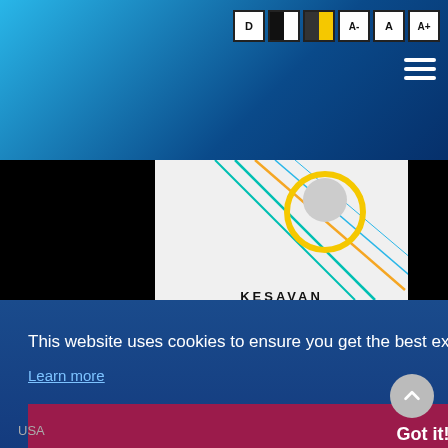[Figure (screenshot): University website header with blue gradient background, accessibility buttons (D, half-black, half-yellow, A-, A, A+) and hamburger menu icon]
[Figure (photo): Profile card for KESAVAN, Associate Vice President, with decorative colored lines and a circular portrait photo on a light grey background, flanked by black bars]
[Figure (infographic): White area with repeating circle/ring pattern watermark]
This website uses cookies to ensure you get the best experience on our website.
Learn more
Got it!
USA